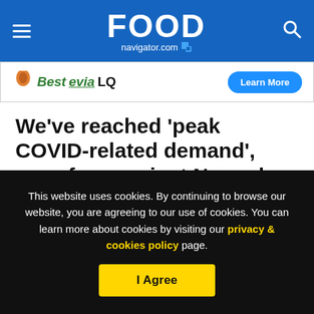FOOD navigator.com
[Figure (screenshot): Bestevia LQ advertisement banner with 'Learn More' button]
We’ve reached ‘peak COVID-related demand’, says frozen giant Nomad
[Figure (infographic): Social sharing icons: Facebook, Twitter, LinkedIn, Email; and font size resize 'Aa' control]
[Figure (photo): Partial image strip below article headline]
This website uses cookies. By continuing to browse our website, you are agreeing to our use of cookies. You can learn more about cookies by visiting our privacy & cookies policy page.